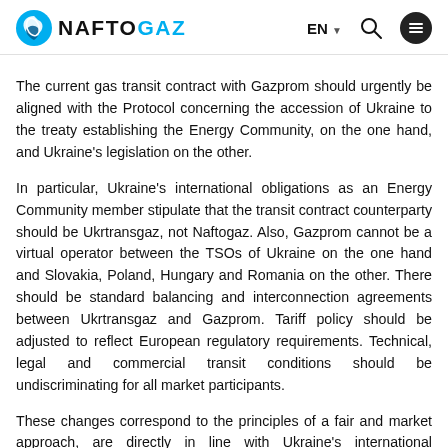NAFTOGAZ EN
The current gas transit contract with Gazprom should urgently be aligned with the Protocol concerning the accession of Ukraine to the treaty establishing the Energy Community, on the one hand, and Ukraine's legislation on the other.
In particular, Ukraine's international obligations as an Energy Community member stipulate that the transit contract counterparty should be Ukrtransgaz, not Naftogaz. Also, Gazprom cannot be a virtual operator between the TSOs of Ukraine on the one hand and Slovakia, Poland, Hungary and Romania on the other. There should be standard balancing and interconnection agreements between Ukrtransgaz and Gazprom. Tariff policy should be adjusted to reflect European regulatory requirements. Technical, legal and commercial transit conditions should be undiscriminating for all market participants.
These changes correspond to the principles of a fair and market approach, are directly in line with Ukraine's international obligations and its national legislation, as well as fully reflect the established practices of European TSO functioning.